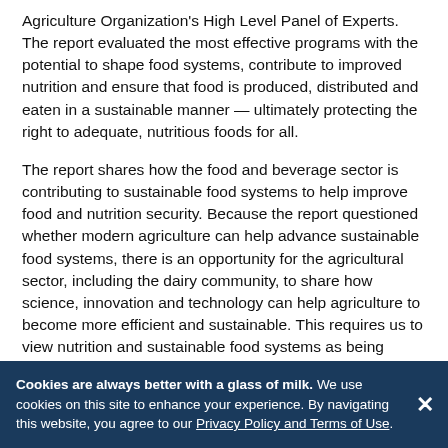Agriculture Organization's High Level Panel of Experts. The report evaluated the most effective programs with the potential to shape food systems, contribute to improved nutrition and ensure that food is produced, distributed and eaten in a sustainable manner — ultimately protecting the right to adequate, nutritious foods for all.
The report shares how the food and beverage sector is contributing to sustainable food systems to help improve food and nutrition security. Because the report questioned whether modern agriculture can help advance sustainable food systems, there is an opportunity for the agricultural sector, including the dairy community, to share how science, innovation and technology can help agriculture to become more efficient and sustainable. This requires us to view nutrition and sustainable food systems as being inextricably linked.
Cookies are always better with a glass of milk. We use cookies on this site to enhance your experience. By navigating this website, you agree to our Privacy Policy and Terms of Use.